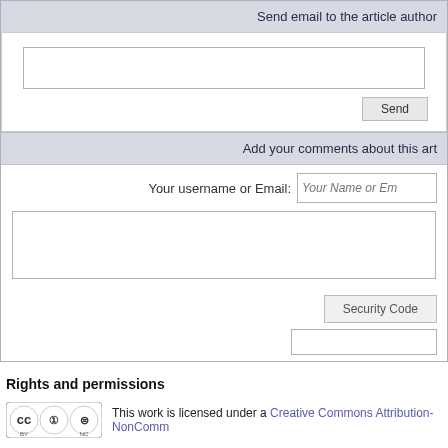Send email to the article author
(email input box)
(send button)
Add your comments about this article
Your username or Email: Your Name or Email
(comment textarea)
Security Code
(security code input)
Rights and permissions
This work is licensed under a Creative Commons Attribution-NonComm
Volume 17, Issue 1 (1-2019)
Persian site map · English site map · G